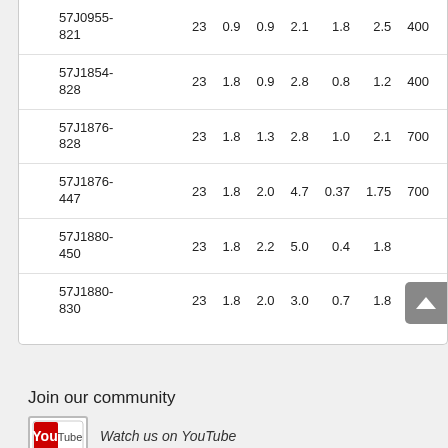| 57J0955-821 | 23 | 0.9 | 0.9 | 2.1 | 1.8 | 2.5 | 400 |
| 57J1854-828 | 23 | 1.8 | 0.9 | 2.8 | 0.8 | 1.2 | 400 |
| 57J1876-828 | 23 | 1.8 | 1.3 | 2.8 | 1.0 | 2.1 | 700 |
| 57J1876-447 | 23 | 1.8 | 2.0 | 4.7 | 0.37 | 1.75 | 700 |
| 57J1880-450 | 23 | 1.8 | 2.2 | 5.0 | 0.4 | 1.8 |  |
| 57J1880-830 | 23 | 1.8 | 2.0 | 3.0 | 0.7 | 1.8 | 700 |
Join our community
[Figure (logo): YouTube logo button]
Watch us on YouTube